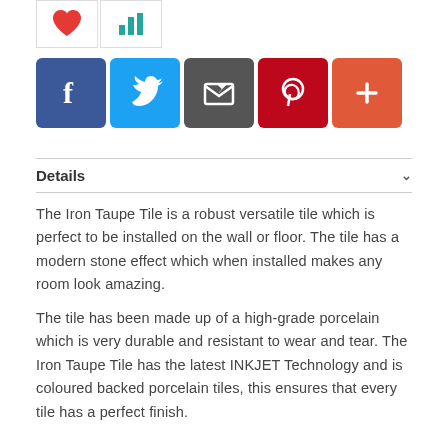[Figure (other): Two small icon boxes (heart icon and bar chart icon) at top left]
[Figure (other): Row of social sharing buttons: Facebook (blue), Twitter (light blue), Email/Share (dark grey), Pinterest (red), Add/Plus (orange-red)]
Details
The Iron Taupe Tile is a robust versatile tile which is perfect to be installed on the wall or floor. The tile has a modern stone effect which when installed makes any room look amazing.
The tile has been made up of a high-grade porcelain which is very durable and resistant to wear and tear. The Iron Taupe Tile has the latest INKJET Technology and is coloured backed porcelain tiles, this ensures that every tile has a perfect finish.